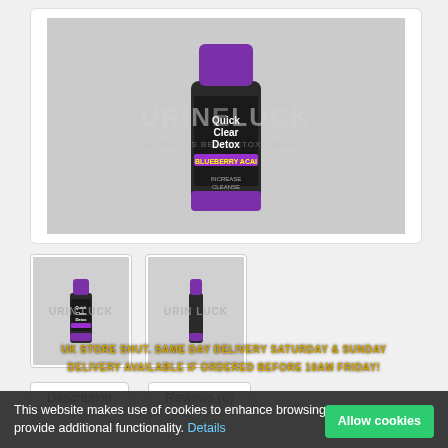[Figure (photo): Quick Clear Detox blueberry acai drink bottle with purple cap and label, displayed on a light gray background with a watermark overlay reading URINELUCK]
[Figure (photo): Small thumbnail of the Quick Clear Detox bottle, front view, with watermark]
[Figure (photo): Small thumbnail of the Quick Clear Detox bottle, side view, with watermark]
Description
Reviews (0)
This website makes use of cookies to enhance browsing experience and provide additional functionality. Details
UK STORE SHUT. SAME DAY DELIVERY SATURDAY & SUNDAY DELIVERY AVAILABLE IF ORDERED BEFORE 10AM FRIDAY!
Allow cookies